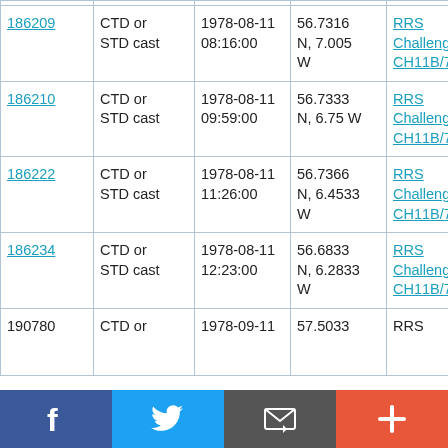| 186209 | CTD or STD cast | 1978-08-11 08:16:00 | 56.7316 N, 7.005 W | RRS Challenger CH11B/78 |
| 186210 | CTD or STD cast | 1978-08-11 09:59:00 | 56.7333 N, 6.75 W | RRS Challenger CH11B/78 |
| 186222 | CTD or STD cast | 1978-08-11 11:26:00 | 56.7366 N, 6.4533 W | RRS Challenger CH11B/78 |
| 186234 | CTD or STD cast | 1978-08-11 12:23:00 | 56.6833 N, 6.2833 W | RRS Challenger CH11B/78 |
| 190780 | CTD or ... | 1978-09-11 | 57.5033 | RRS |
[Figure (other): Social sharing bar with Facebook, Twitter, Email/message, and plus buttons]